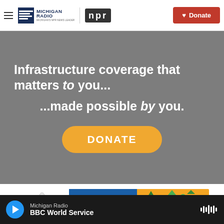Michigan Radio | NPR — Donate
[Figure (infographic): Gray promotional banner reading 'Infrastructure coverage that matters to you... ...made possible by you.' with an orange DONATE button]
[Figure (infographic): MI Humanities and Connecting Michigan banner advertisement]
Michigan Radio — BBC World Service (audio player)